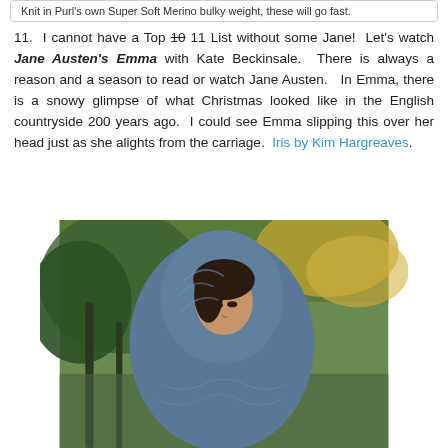Knit in Purl's own Super Soft Merino bulky weight, these will go fast.
11.  I cannot have a Top 10 11 List without some Jane!  Let's watch Jane Austen's Emma with Kate Beckinsale.  There is always a reason and a season to read or watch Jane Austen.  In Emma, there is a snowy glimpse of what Christmas looked like in the English countryside 200 years ago.  I could see Emma slipping this over her head just as she alights from the carriage.  Iris by Kim Hargreaves.
[Figure (photo): A woman wearing a blue knitted hood/shawl, photographed outdoors in a wooded setting with autumn leaves. The woman is looking over her shoulder toward the camera.]